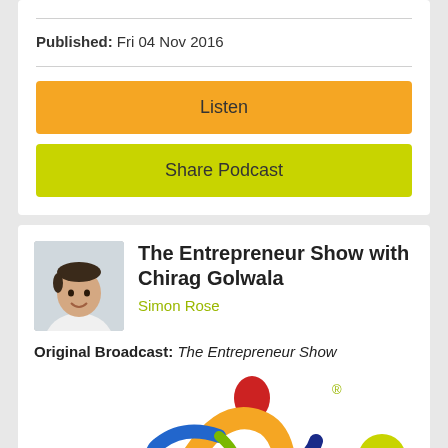Published: Fri 04 Nov 2016
Listen
Share Podcast
The Entrepreneur Show with Chirag Golwala
Simon Rose
Original Broadcast: The Entrepreneur Show
[Figure (logo): The Entrepreneur Show logo featuring a colorful dynamic figure in motion with red, orange, blue and green colors, with a registered trademark symbol]